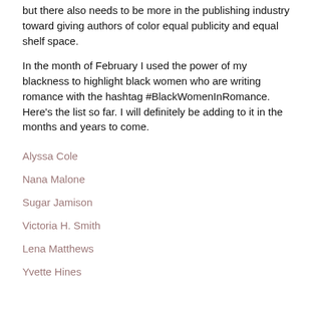but there also needs to be more in the publishing industry toward giving authors of color equal publicity and equal shelf space.
In the month of February I used the power of my blackness to highlight black women who are writing romance with the hashtag #BlackWomenInRomance. Here's the list so far. I will definitely be adding to it in the months and years to come.
Alyssa Cole
Nana Malone
Sugar Jamison
Victoria H. Smith
Lena Matthews
Yvette Hines